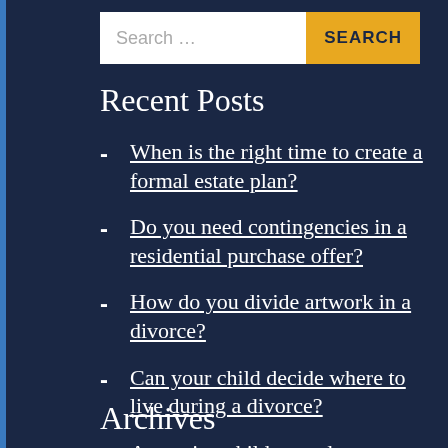Recent Posts
When is the right time to create a formal estate plan?
Do you need contingencies in a residential purchase offer?
How do you divide artwork in a divorce?
Can your child decide where to live during a divorce?
Arranging child custody as a doctor
Archives